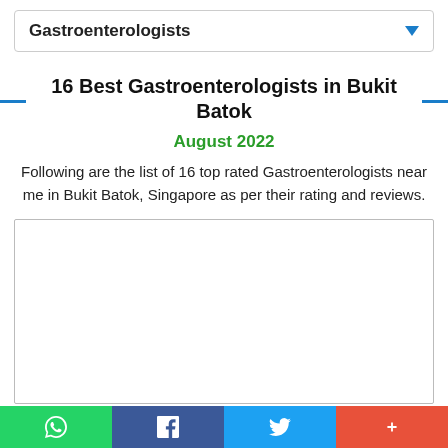Gastroenterologists
16 Best Gastroenterologists in Bukit Batok
August 2022
Following are the list of 16 top rated Gastroenterologists near me in Bukit Batok, Singapore as per their rating and reviews.
[Figure (other): Empty advertisement box with border]
WhatsApp | Facebook | Twitter | +